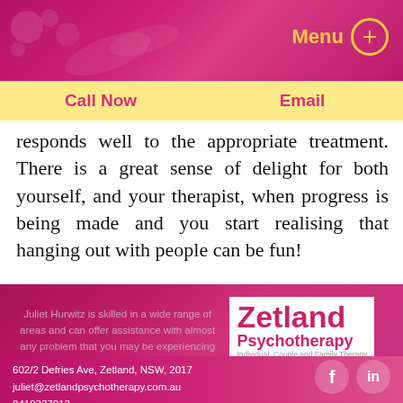Menu +
Call Now | Email
responds well to the appropriate treatment. There is a great sense of delight for both yourself, and your therapist, when progress is being made and you start realising that hanging out with people can be fun!
Juliet Hurwitz is skilled in a wide range of areas and can offer ’assistance with almost any problem that you may be experiencing
[Figure (logo): Zetland Psychotherapy logo — Individual, Couple and Family Therapy]
602/2 Defries Ave, Zetland, NSW, 2017
juliet@zetlandpsychotherapy.com.au
0419337013